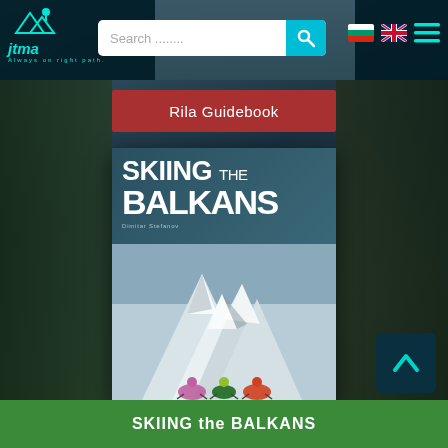[Figure (screenshot): Website header with logo 'jtma Always on right path', search bar, Bulgarian and UK flags, and hamburger menu on dark teal background]
Rila Guidebook
[Figure (photo): Book cover: SKIING the BALKANS, showing skiers ascending a snowy mountain landscape in the Balkans]
SKIING the BALKANS